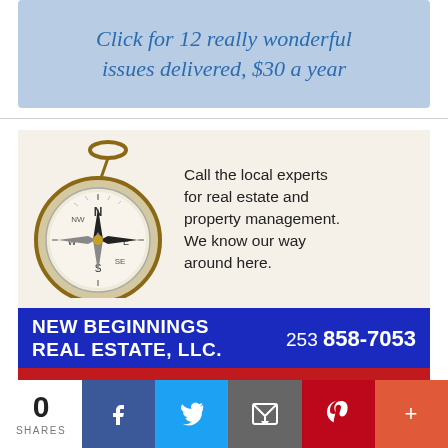[Figure (illustration): Blue banner ad with italic text: Click for 12 really wonderful issues delivered, $30 a year]
[Figure (illustration): Real estate advertisement for New Beginnings Real Estate LLC and DK Property Management LLC, featuring a compass image, tagline text, blue bar with company name and phone 253 858-7053, red bar with DK logo and phone 253 884-2076]
[Figure (infographic): Social share bar showing 0 shares with Facebook, Twitter, Email, Pinterest, and More buttons]